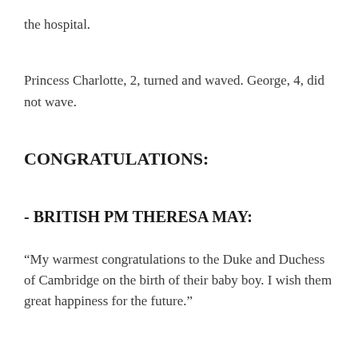the hospital.
Princess Charlotte, 2, turned and waved. George, 4, did not wave.
CONGRATULATIONS:
- BRITISH PM THERESA MAY:
“My warmest congratulations to the Duke and Duchess of Cambridge on the birth of their baby boy. I wish them great happiness for the future.”